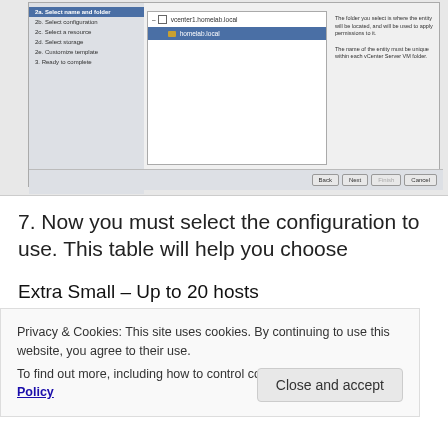[Figure (screenshot): VMware vCenter wizard screenshot showing 'Select name and folder' step with a folder tree panel displaying 'vcenter1.homelab.local' and 'homelab.local' entries, with Back, Next, Finish, Cancel buttons at bottom]
7. Now you must select the configuration to use. This table will help you choose
Extra Small – Up to 20 hosts
Small – Up to 100 hosts
Privacy & Cookies: This site uses cookies. By continuing to use this website, you agree to their use.
To find out more, including how to control cookies, see here: Cookie Policy
Close and accept